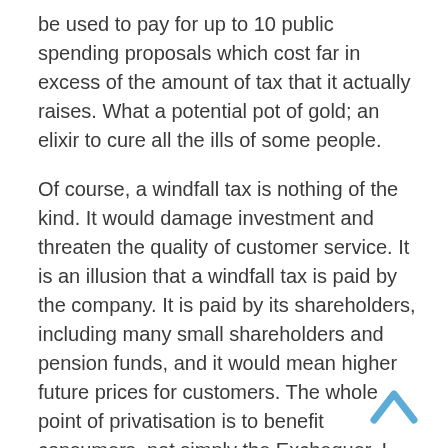be used to pay for up to 10 public spending proposals which cost far in excess of the amount of tax that it actually raises. What a potential pot of gold; an elixir to cure all the ills of some people.
Of course, a windfall tax is nothing of the kind. It would damage investment and threaten the quality of customer service. It is an illusion that a windfall tax is paid by the company. It is paid by its shareholders, including many small shareholders and pension funds, and it would mean higher future prices for customers. The whole point of privatisation is to benefit consumers, not simply the Exchequer. I have no intention of introducing such a tax. [Interruption.] If that decision is meant to be a help to the Labour party, heaven help it. I do not think that it can make much of that.